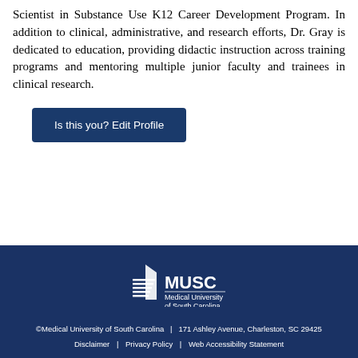Scientist in Substance Use K12 Career Development Program. In addition to clinical, administrative, and research efforts, Dr. Gray is dedicated to education, providing didactic instruction across training programs and mentoring multiple junior faculty and trainees in clinical research.
Is this you? Edit Profile
[Figure (logo): MUSC Medical University of South Carolina logo — building icon with horizontal lines on left, MUSC text on right, subtitle below]
©Medical University of South Carolina  |  171 Ashley Avenue, Charleston, SC 29425
Disclaimer  |  Privacy Policy  |  Web Accessibility Statement